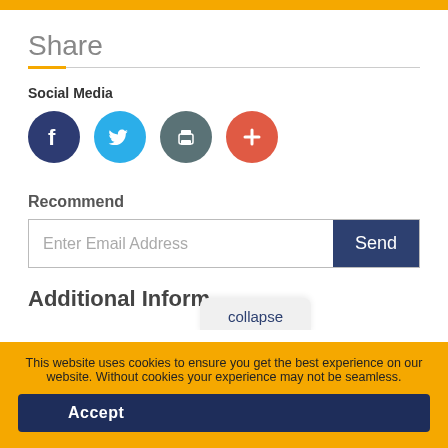Share
Social Media
[Figure (illustration): Four social media/share icon circles: Facebook (dark blue, f), Twitter (light blue, bird), Print (gray, printer icon), More (red/orange, plus sign)]
Recommend
[Figure (other): Email input field with placeholder 'Enter Email Address' and a dark blue 'Send' button]
Additional Inform
collapse
You are not currently authenticated. If you would like to authenticate using a different subscribed institution or
This website uses cookies to ensure you get the best experience on our website. Without cookies your experience may not be seamless.
Accept